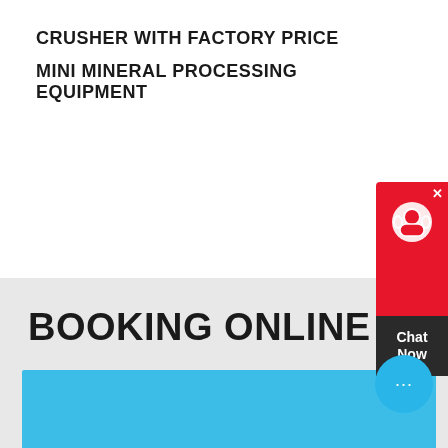CRUSHER WITH FACTORY PRICE
MINI MINERAL PROCESSING EQUIPMENT
[Figure (other): Live chat widget with red background showing headset icon, dark bottom section with 'Chat Now' text, and a close X button]
BOOKING ONLINE
[Figure (other): Blue chat bubble button with three dots (ellipsis) icon]
Please Feel free to give your inquiry in the form below.
Company: